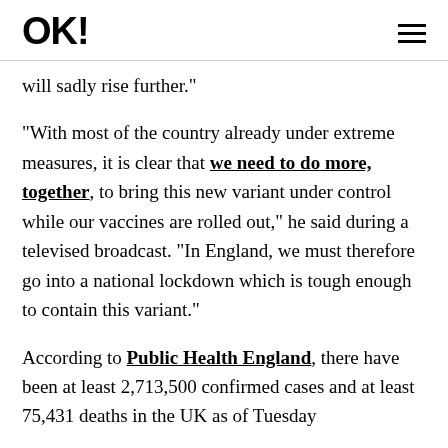OK!
will sadly rise further."
"With most of the country already under extreme measures, it is clear that we need to do more, together, to bring this new variant under control while our vaccines are rolled out," he said during a televised broadcast. "In England, we must therefore go into a national lockdown which is tough enough to contain this variant."
According to Public Health England, there have been at least 2,713,500 confirmed cases and at least 75,431 deaths in the UK as of Tuesday